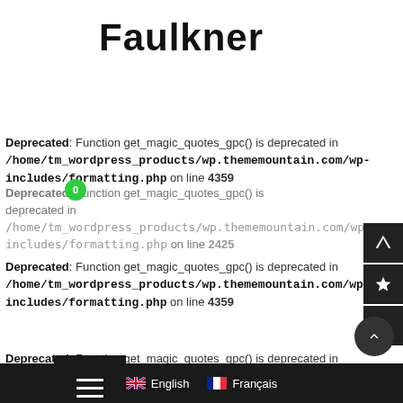Faulkner
Deprecated: Function get_magic_quotes_gpc() is deprecated in /home/tm_wordpress_products/wp.thememountain.com/wp-includes/formatting.php on line 4359
Deprecated: Function get_magic_quotes_gpc() is deprecated in /home/tm_wordpress_products/wp.thememountain.com/wp-includes/formatting.php on line 2425
Deprecated: Function get_magic_quotes_gpc() is deprecated in /home/tm_wordpress_products/wp.thememountain.com/wp-includes/formatting.php on line 4359
Deprecated: Function get_magic_quotes_gpc() is deprecated in /home/tm_wordpress_products/wp.thememountain.com/wp-includes/formatting.php on line 4359
Deprecated: Function get_magic_quotes_gpc() is deprecated i
English  Français